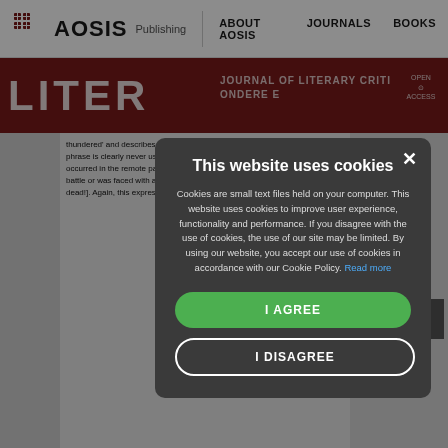AOSIS Publishing | ABOUT AOSIS | JOURNALS | BOOKS
[Figure (screenshot): AOSIS Publishing logo with grid icon]
LITERATOR | JOURNAL OF LITERARY CRITICISM | COMPARATIVE LINGUISTICS AND LITERARY STUDIES
sabe], which n nce point', ac ct identified or with –be) as it ses: how does a past which is tance in Sagiji reference point solved since – by reference t absolute and r ally be discard ed to show how
the phrase La soccer ball has The clause lite thundered' and describes how the ball has 'thundered' ac phrase is clearly never used in soccer commentary to in occurred in the remote past. When an isiZulu warrior rec battle or was faced with a life-threatening situation he ma dead!]. Again, this expression, in the remote past tense
This website uses cookies

Cookies are small text files held on your computer. This website uses cookies to improve user experience, functionality and performance. If you disagree with the use of cookies, the use of our site may be limited. By using our website, you accept our use of cookies in accordance with our Cookie Policy. Read more
I AGREE
I DISAGREE